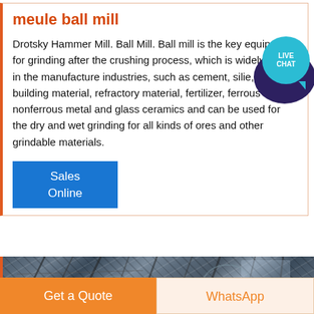meule ball mill
Drotsky Hammer Mill. Ball Mill. Ball mill is the key equipment for grinding after the crushing process, which is widely used in the manufacture industries, such as cement, silie, new building material, refractory material, fertilizer, ferrous metal, nonferrous metal and glass ceramics and can be used for the dry and wet grinding for all kinds of ores and other grindable materials.
[Figure (other): Blue button labeled Sales Online]
[Figure (photo): Industrial machinery photo showing metal framework structures of a ball mill]
[Figure (other): Get a Quote orange button and WhatsApp button at the bottom of the page]